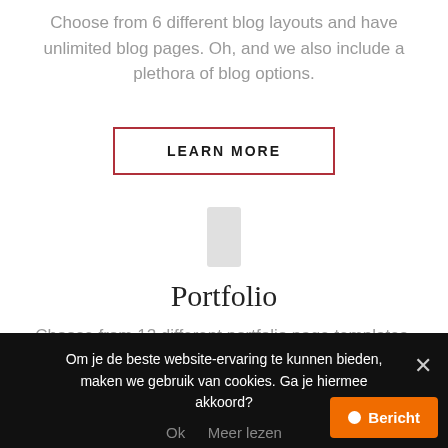Choose from 6 different blog layouts and have unlimited blog pages. Oh, and we also include a plethora of blog options.
LEARN MORE
[Figure (illustration): Small grey rectangle icon representing a portfolio page thumbnail]
Portfolio
Choose from 12 different portfolio page templates, dozens of options, unlimited portfolio pages and
Om je de beste website-ervaring te kunnen bieden, maken we gebruik van cookies. Ga je hiermee akkoord?
Ok   Meer lezen
× Bericht